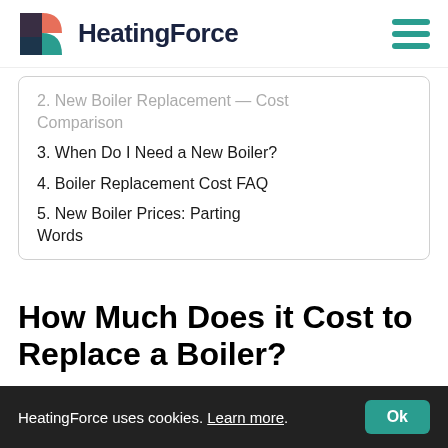HeatingForce
2. New Boiler Replacement — Cost Comparison
3. When Do I Need a New Boiler?
4. Boiler Replacement Cost FAQ
5. New Boiler Prices: Parting Words
How Much Does it Cost to Replace a Boiler?
HeatingForce uses cookies. Learn more. Ok